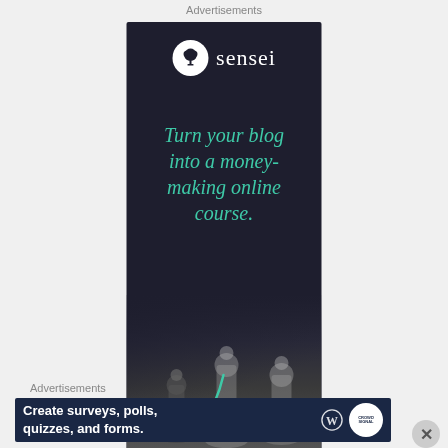Advertisements
[Figure (illustration): Sensei advertisement banner on dark background. Shows Sensei logo (tree icon in circle) and brand name. Text reads: Turn your blog into a money-making online course. Bottom shows blurred chess pieces with a teal arrow pointing down.]
Advertisements
[Figure (illustration): Crowdsignal advertisement banner on dark blue background. Text reads: Create surveys, polls, quizzes, and forms. Shows WordPress logo and Crowdsignal badge on right.]